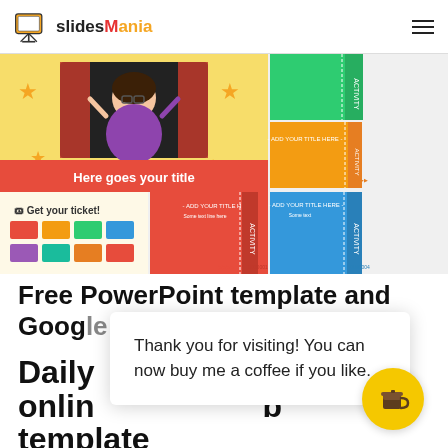slidesMania
[Figure (screenshot): Screenshot of SlidesMarket PowerPoint template preview showing colorful ticket-themed slides with text 'Here goes your title' and 'Get your ticket!']
Free PowerPoint template and Google Slides theme
Daily fo online b template
Thank you for visiting! You can now buy me a coffee if you like.